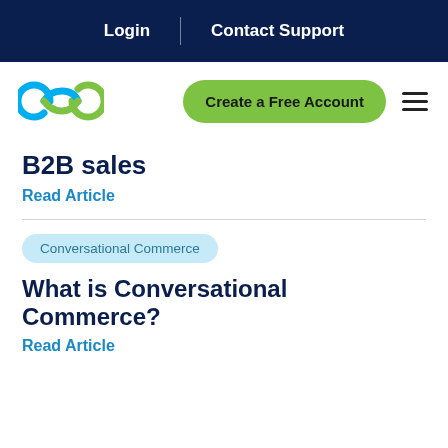Login | Contact Support
[Figure (logo): Circular chain link logo in cyan and green]
Create a Free Account
B2B sales
Read Article
Conversational Commerce
What is Conversational Commerce?
Read Article